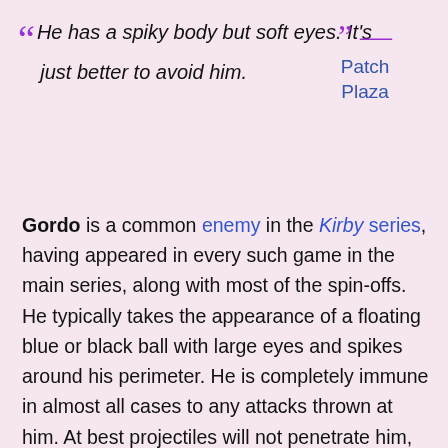“He has a spiky body but soft eyes. It’s just better to avoid him.” — Patch Plaza
Gordo is a common enemy in the Kirby series, having appeared in every such game in the main series, along with most of the spin-offs. He typically takes the appearance of a floating blue or black ball with large eyes and spikes around his perimeter. He is completely immune in almost all cases to any attacks thrown at him. At best projectiles will not penetrate him, at worst the attacker will be damaged in return. As such, he is best avoided, not confronted. However, this is often easier said than done, as he tends to generally block Kirby’s path by sitting in corridors, bouncing back and forth between two solid objects vertically or horizontally, circling around blocks, or bouncing along the ground affected by gravity.